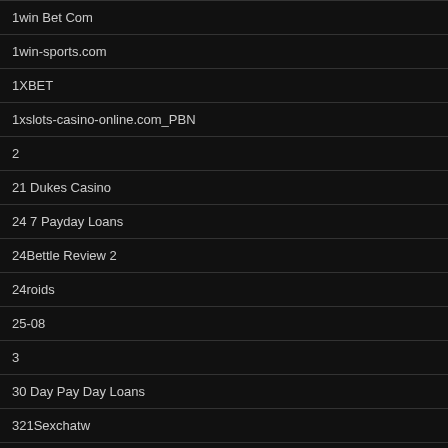1win Bet Com
1win-sports.com
1XBET
1xslots-casino-online.com_PBN
2
21 Dukes Casino
24 7 Payday Loans
24Bettle Review 2
24roids
25-08
3
30 Day Pay Day Loans
321Sexchatw